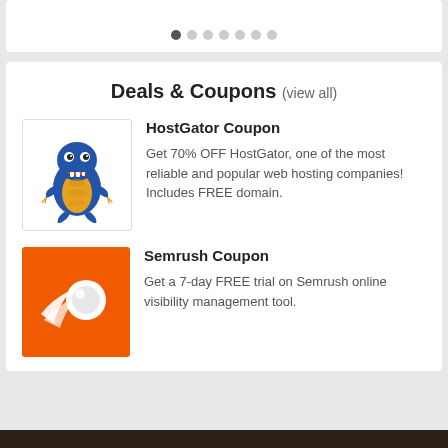[Figure (other): Pagination dots row, first dot filled/active, six others empty]
Deals & Coupons (view all)
[Figure (illustration): HostGator mascot: blue cartoon alligator standing upright]
HostGator Coupon
Get 70% OFF HostGator, one of the most reliable and popular web hosting companies! Includes FREE domain.
[Figure (logo): Semrush logo: white comet/ball icon on orange background]
Semrush Coupon
Get a 7-day FREE trial on Semrush online visibility management tool.